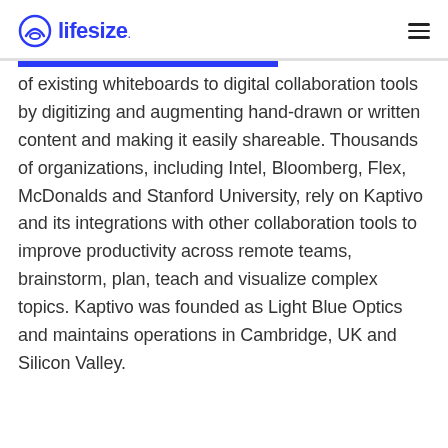lifesize
of existing whiteboards to digital collaboration tools by digitizing and augmenting hand-drawn or written content and making it easily shareable. Thousands of organizations, including Intel, Bloomberg, Flex, McDonalds and Stanford University, rely on Kaptivo and its integrations with other collaboration tools to improve productivity across remote teams, brainstorm, plan, teach and visualize complex topics. Kaptivo was founded as Light Blue Optics and maintains operations in Cambridge, UK and Silicon Valley.